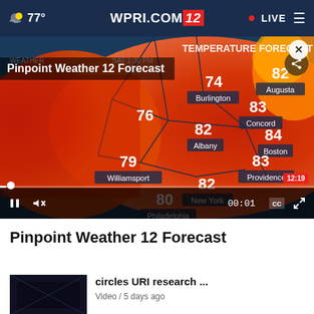77° WPRI.COM 12 • LIVE
[Figure (screenshot): Weather forecast video player showing a temperature map of the northeastern United States with temperatures: Burlington 74, Augusta 82, Concord 83, Syracuse 76, Albany 82, Boston 84, Williamsport 79, Providence 83, New York 82, Philadelphia 80. A female meteorologist in yellow dress is pointing at the map. Video controls show pause button, mute button, 00:01 timestamp, CC and fullscreen buttons.]
Pinpoint Weather 12 Forecast
circles URI research ...
Video / 5 days ago